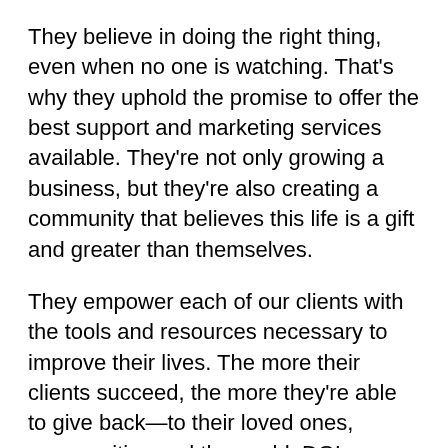They believe in doing the right thing, even when no one is watching. That's why they uphold the promise to offer the best support and marketing services available. They're not only growing a business, but they're also creating a community that believes this life is a gift and greater than themselves.
They empower each of our clients with the tools and resources necessary to improve their lives. The more their clients succeed, the more they're able to give back—to their loved ones, communities and the world. DGL believes in an integrated lifestyle that combines passion and hard work.
[Figure (other): Chat widget with avatar photo of Nate Leung, bold text 'Chat with Nate Leung', subtext 'Hello! How can I help you?', and a green Facebook Messenger icon on the right.]
courageously and powerfully forward. Together, they